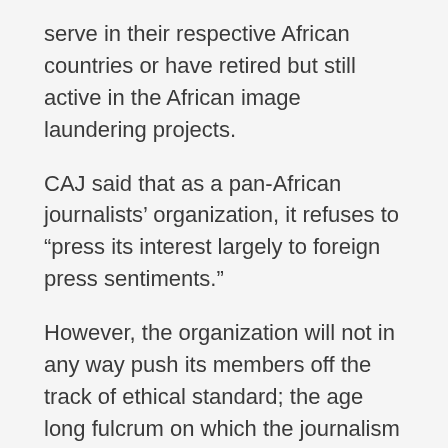serve in their respective African countries or have retired but still active in the African image laundering projects.
CAJ said that as a pan-African journalists' organization, it refuses to “press its interest largely to foreign press sentiments.”
However, the organization will not in any way push its members off the track of ethical standard; the age long fulcrum on which the journalism profession has laid its values.
CAJ said it believes they are in the best position to reel out their own narratives and that the interface in conference will evolve a common understanding of the various challenges bedeviling the continent and its development.
Kojo Oppong Nkrumah, Minister of Information, Ghana